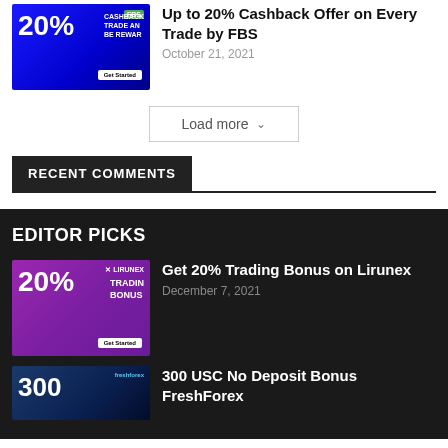[Figure (illustration): FBS cashback offer banner: blue background with 20% text, CASHBACK TRADE AND BE REWARDED text, Get Started button]
Up to 20% Cashback Offer on Every Trade by FBS
October 21, 2021
Load more
RECENT COMMENTS
EDITOR PICKS
[Figure (illustration): Lirunex 20% Trading Bonus banner: purple/violet background with 20% text, TRADING BONUS text, Get Started button]
Get 20% Trading Bonus on Lirunex
December 7, 2021
[Figure (illustration): FreshForex 300 USC No Deposit Bonus banner: dark blue background with 300 text]
300 USC No Deposit Bonus FreshForex